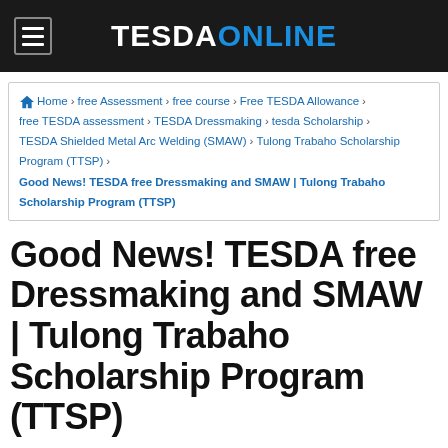TESDAONLINE
Home > free Assessment > free course > Free TESDA Allowance > free TESDA assessment > TESDA Dressmaking > tesda Scholarship > TESDA Shielded Metal Arc Welding (SMAW) > Tulong Trabaho Scholarship Program (TTSP) > Good News! TESDA free Dressmaking and SMAW | Tulong Trabaho Scholarship Program (TTSP)
Good News! TESDA free Dressmaking and SMAW | Tulong Trabaho Scholarship Program (TTSP)